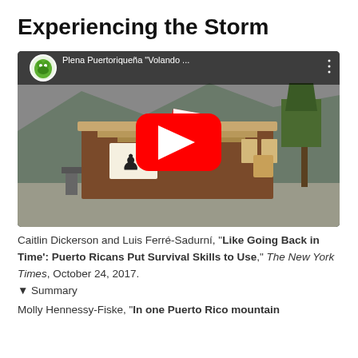Experiencing the Storm
[Figure (screenshot): YouTube video thumbnail showing a building with Puerto Rican flag and '#No nos' graffiti text, mountains in background, with red YouTube play button overlay. Channel avatar shows a green cartoon character. Video title reads: Plena Puertoriqueña "Volando ..."]
Caitlin Dickerson and Luis Ferré-Sadurní, "Like Going Back in Time': Puerto Ricans Put Survival Skills to Use," The New York Times, October 24, 2017.
▾ Summary
Molly Hennessy-Fiske, "In one Puerto Rico mountain